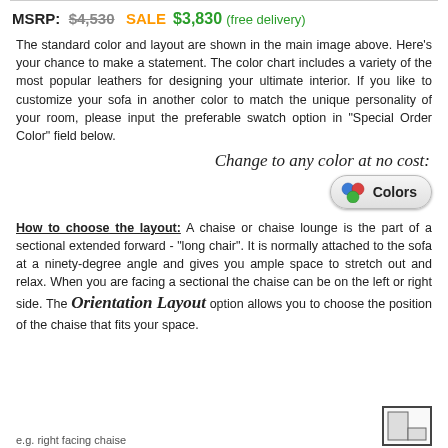MSRP: $4,530 SALE $3,830 (free delivery)
The standard color and layout are shown in the main image above. Here's your chance to make a statement. The color chart includes a variety of the most popular leathers for designing your ultimate interior. If you like to customize your sofa in another color to match the unique personality of your room, please input the preferable swatch option in "Special Order Color" field below.
Change to any color at no cost:
[Figure (illustration): A Colors button with three colored spheres (blue, red, green) and label 'Colors']
How to choose the layout: A chaise or chaise lounge is the part of a sectional extended forward - "long chair". It is normally attached to the sofa at a ninety-degree angle and gives you ample space to stretch out and relax. When you are facing a sectional the chaise can be on the left or right side. The Orientation Layout option allows you to choose the position of the chaise that fits your space.
e.g. right facing chaise